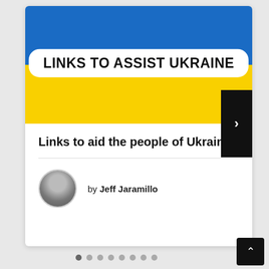[Figure (screenshot): Ukraine flag with blue top half and yellow bottom half, overlaid with white rounded rectangle label reading LINKS TO ASSIST UKRAINE in bold black text]
Links to aid the people of Ukraine
by Jeff Jaramillo